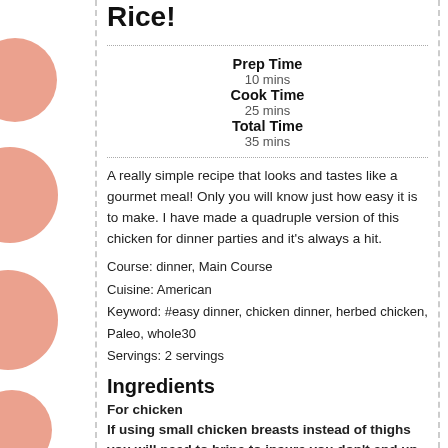Rice!
Prep Time
10 mins
Cook Time
25 mins
Total Time
35 mins
A really simple recipe that looks and tastes like a gourmet meal! Only you will know just how easy it is to make. I have made a quadruple version of this chicken for dinner parties and it's always a hit.
Course: dinner, Main Course
Cuisine: American
Keyword: #easy dinner, chicken dinner, herbed chicken, Paleo, whole30
Servings: 2 servings
Ingredients
For chicken
If using small chicken breasts instead of thighs you will need to brine to insure you don't end up with dry meat. Place chicken breasts in a bowl of 6 cups water mixed with 1/3 cup sea salt. Allow to brine in water for 30 minutes. Skip this step if using thighs.
4 chicken thighs or small chicken breasts, bone in, skin on (if using breasts see notes above about brining)